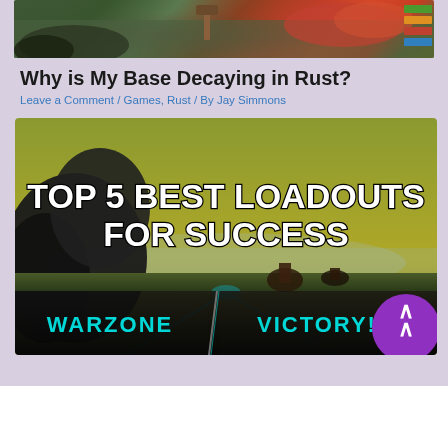[Figure (screenshot): Top portion of a gaming article page showing a game screenshot thumbnail at the top with nature/wilderness and dragon-like imagery]
Why is My Base Decaying in Rust?
Leave a Comment / Games, Rust / By Jay Simmons
[Figure (screenshot): Gaming thumbnail image with text 'TOP 5 BEST LOADOUTS FOR SUCCESS' overlaid on a dark wilderness/warzone scene, with 'WARZONE' and 'VICTORY!' text on a teal/black bar at the bottom, and a purple circle with up arrow at bottom right]